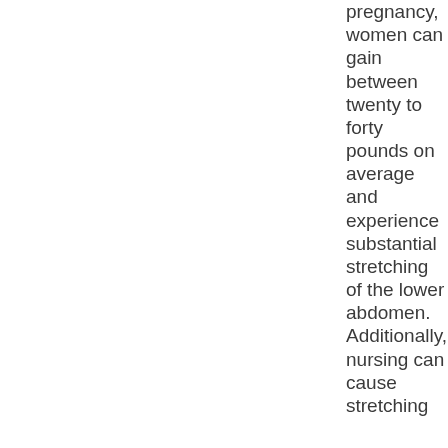pregnancy, women can gain between twenty to forty pounds on average and experience substantial stretching of the lower abdomen. Additionally, nursing can cause stretching